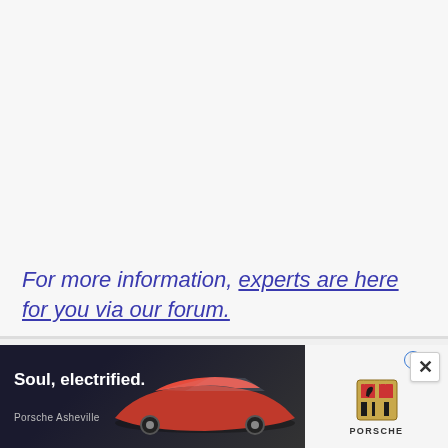For more information, experts are here for you via our forum.
[Figure (screenshot): Advertisement banner for Porsche Asheville with tagline 'Soul, electrified.' showing a red Porsche car on a dark background, with Porsche crest logo on the right side.]